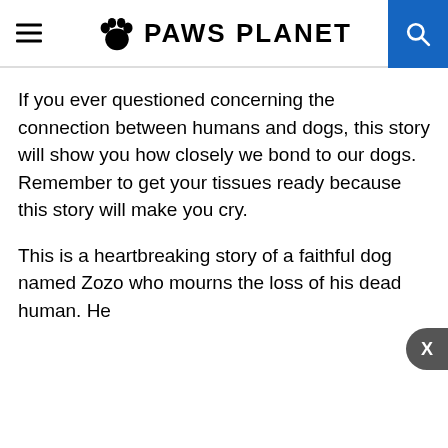PAWS PLANET
If you ever questioned concerning the connection between humans and dogs, this story will show you how closely we bond to our dogs. Remember to get your tissues ready because this story will make you cry.
This is a heartbreaking story of a faithful dog named Zozo who mourns the loss of his dead human. He